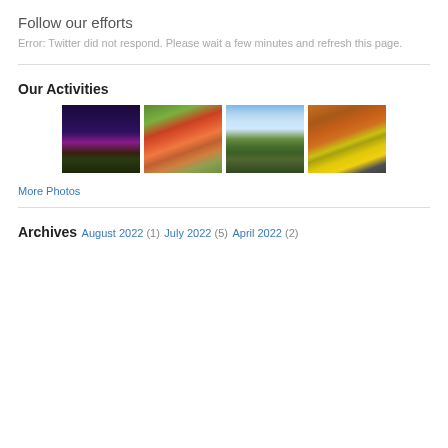Follow our efforts
Error: Twitter did not respond. Please wait a few minutes and refresh this page.
Our Activities
[Figure (photo): Four activity photos in a row: 1) Night sky with lavender field, 2) Butterfly on red flower, 3) Mountain landscape, 4) Yellow sports car]
More Photos
Archives
August 2022 (1)
July 2022 (5)
April 2022 (2)